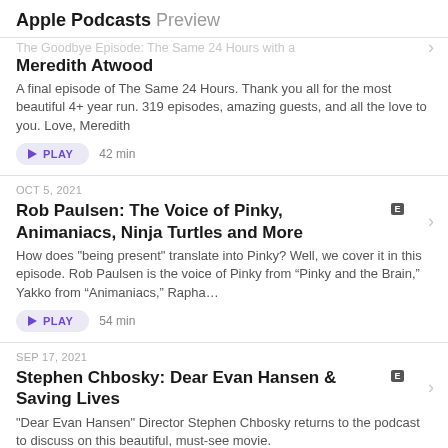Apple Podcasts Preview
The Goodbye Episode: The Same 24 Hours with a Meredith Atwood
Meredith Atwood
A final episode of The Same 24 Hours. Thank you all for the most beautiful 4+ year run. 319 episodes, amazing guests, and all the love to you. Love, Meredith
PLAY   42 min
OCT 5, 2021
Rob Paulsen: The Voice of Pinky, Animaniacs, Ninja Turtles and More
How does "being present" translate into Pinky? Well, we cover it in this episode. Rob Paulsen is the voice of Pinky from “Pinky and the Brain,” Yakko from “Animaniacs,” Rapha…
PLAY   54 min
SEP 17, 2021
Stephen Chbosky: Dear Evan Hansen & Saving Lives
"Dear Evan Hansen" Director Stephen Chbosky returns to the podcast to discuss on this beautiful, must-see movie. You may know Stephen from the best-selling book, Per…